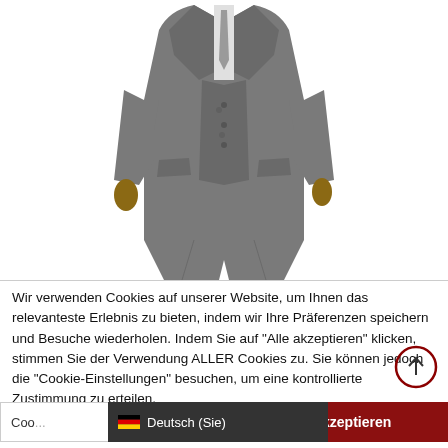[Figure (photo): Person wearing a grey three-piece suit (jacket, vest, trousers) on a white background, visible from neck to below knee, hands at sides.]
Wir verwenden Cookies auf unserer Website, um Ihnen das relevanteste Erlebnis zu bieten, indem wir Ihre Präferenzen speichern und Besuche wiederholen. Indem Sie auf "Alle akzeptieren" klicken, stimmen Sie der Verwendung ALLER Cookies zu. Sie können jedoch die "Cookie-Einstellungen" besuchen, um eine kontrollierte Zustimmung zu erteilen.
Coo...   Alle akzeptieren
Deutsch (Sie)